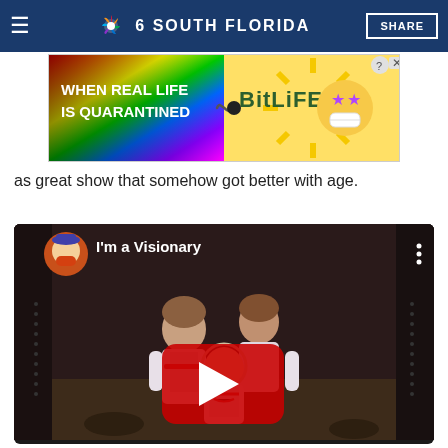NBC 6 South Florida — SHARE
[Figure (screenshot): BitLife advertisement banner: rainbow background with text 'WHEN REAL LIFE IS QUARANTINED' and BitLife logo with emoji characters]
as great show that somehow got better with age.
[Figure (screenshot): YouTube video embed showing South Park characters in space suits titled 'I'm a Visionary' with YouTube play button overlay]